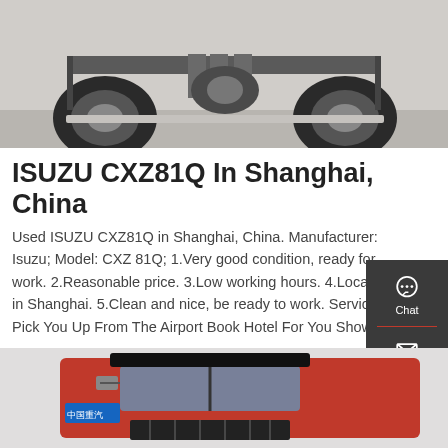[Figure (photo): Undercarriage view of an ISUZU truck from below, showing rear axle, tires, and chassis]
ISUZU CXZ81Q In Shanghai, China
Used ISUZU CXZ81Q in Shanghai, China. Manufacturer: Isuzu; Model: CXZ 81Q; 1.Very good condition, ready for work. 2.Reasonable price. 3.Low working hours. 4.Located in Shanghai. 5.Clean and nice, be ready to work. Service Pick You Up From The Airport Book Hotel For You Show
[Figure (other): GET A QUOTE button (red/orange)]
[Figure (other): Right sidebar with Chat, Email, and Contact icons on dark background]
[Figure (photo): Front cab view of a red Chinese brand heavy truck]